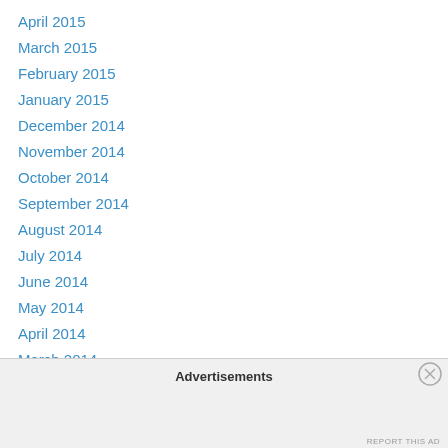April 2015
March 2015
February 2015
January 2015
December 2014
November 2014
October 2014
September 2014
August 2014
July 2014
June 2014
May 2014
April 2014
March 2014
February 2014
January 2014
Advertisements